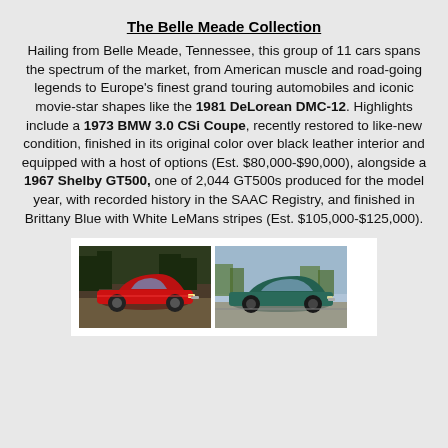The Belle Meade Collection
Hailing from Belle Meade, Tennessee, this group of 11 cars spans the spectrum of the market, from American muscle and road-going legends to Europe's finest grand touring automobiles and iconic movie-star shapes like the 1981 DeLorean DMC-12. Highlights include a 1973 BMW 3.0 CSi Coupe, recently restored to like-new condition, finished in its original color over black leather interior and equipped with a host of options (Est. $80,000-$90,000), alongside a 1967 Shelby GT500, one of 2,044 GT500s produced for the model year, with recorded history in the SAAC Registry, and finished in Brittany Blue with White LeMans stripes (Est. $105,000-$125,000).
[Figure (photo): Two classic cars side by side: a red sports car (left) and a teal/green classic car (right), shown in outdoor settings.]